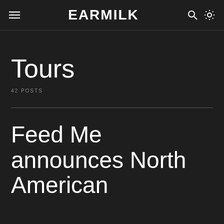EARMILK
Tours
42 POSTS
Feed Me announces North American